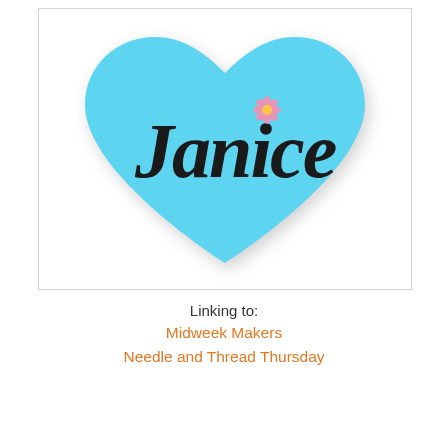[Figure (logo): Light blue heart shape with the name 'Janice' written in cursive black script, with a small pink daisy flower above the letter 'i'. White background with subtle drop shadow on heart.]
Linking to:
Midweek Makers
Needle and Thread Thursday